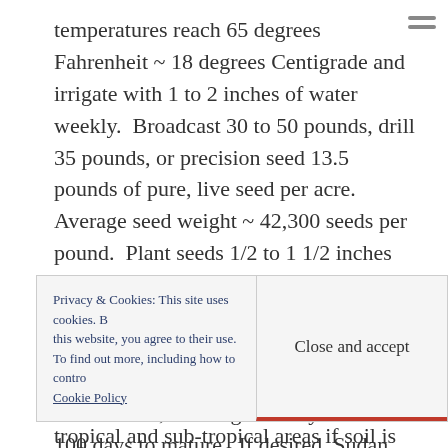temperatures reach 65 degrees Fahrenheit ~ 18 degrees Centigrade and irrigate with 1 to 2 inches of water weekly.  Broadcast 30 to 50 pounds, drill 35 pounds, or precision seed 13.5 pounds of pure, live seed per acre.  Average seed weight ~ 42,300 seeds per pound.  Plant seeds 1/2 to 1 1/2 inches deep in rows 7 to 14 inches apart.  Under ideal conditions Sudan grass can reach 8 to 9 feet mature height in 8 to 10 weeks.  If temperature and moisture are unfavorable, Sudan grass may take 80 to 100 days to mature.  If desired, Sudan
Privacy & Cookies: This site uses cookies. By continuing to use this website, you agree to their use. To find out more, including how to control cookies, see here: Cookie Policy
Close and accept
tropical and sub-tropical areas if soil is fertile and